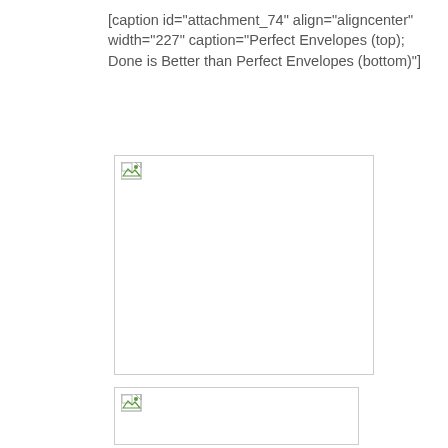[caption id="attachment_74" align="aligncenter" width="227" caption="Perfect Envelopes (top); Done is Better than Perfect Envelopes (bottom)"]
[Figure (photo): Broken image placeholder (top image) — white box with broken image icon in top-left corner]
[Figure (photo): Broken image placeholder (bottom image) — white box with broken image icon in top-left corner]